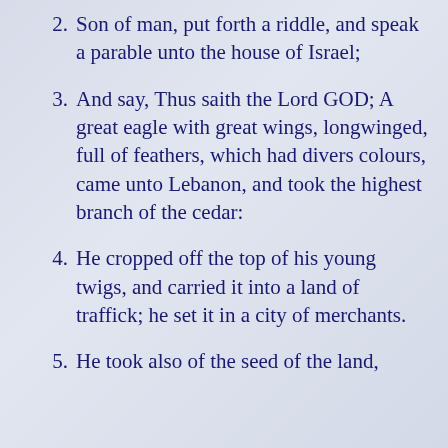2. Son of man, put forth a riddle, and speak a parable unto the house of Israel;
3. And say, Thus saith the Lord GOD; A great eagle with great wings, longwinged, full of feathers, which had divers colours, came unto Lebanon, and took the highest branch of the cedar:
4. He cropped off the top of his young twigs, and carried it into a land of traffick; he set it in a city of merchants.
5. He took also of the seed of the land,